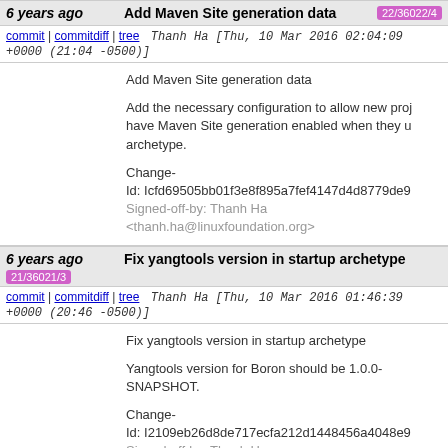6 years ago | Add Maven Site generation data 22/36022/4
commit | commitdiff | tree   Thanh Ha [Thu, 10 Mar 2016 02:04:09 +0000 (21:04 -0500)]
Add Maven Site generation data

Add the necessary configuration to allow new projects to have Maven Site generation enabled when they use the archetype.

Change-Id: Icfd69505bb01f3e8f895a7fef4147d4d8779de9e
Signed-off-by: Thanh Ha <thanh.ha@linuxfoundation.org>
6 years ago | Fix yangtools version in startup archetype 21/36021/3
commit | commitdiff | tree   Thanh Ha [Thu, 10 Mar 2016 01:46:39 +0000 (20:46 -0500)]
Fix yangtools version in startup archetype

Yangtools version for Boron should be 1.0.0-SNAPSHOT.

Change-Id: I2109eb26d8de717ecfa212d1448456a4048e9...
Signed-off-by: Thanh Ha <thanh.ha@linuxfoundation.org>